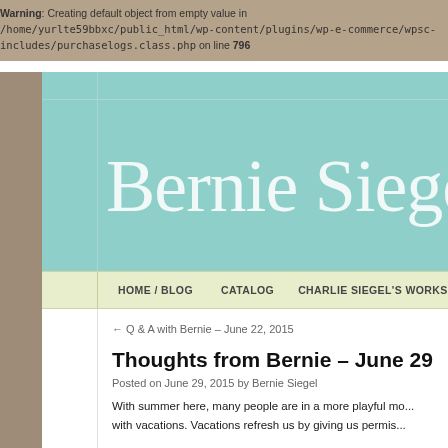Warning: Creating default object from empty value in /home/yurlte59bbxc/public_html/wp-content/plugins/wp-e-commerce/wpsc-includes/purchaselogs.class.php on line 796
Bernie Siegel
HOME / BLOG   CATALOG   CHARLIE SIEGEL'S WORKS
← Q & A with Bernie – June 22, 2015
Thoughts from Bernie – June 29
Posted on June 29, 2015 by Bernie Siegel
With summer here, many people are in a more playful mo... with vacations. Vacations refresh us by giving us permis...